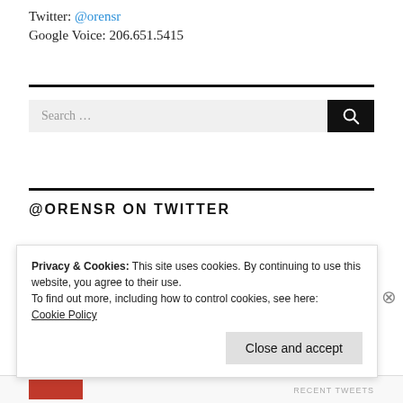Twitter: @orensr
Google Voice: 206.651.5415
Search ...
@ORENSR ON TWITTER
Privacy & Cookies: This site uses cookies. By continuing to use this website, you agree to their use.
To find out more, including how to control cookies, see here:
Cookie Policy
Close and accept